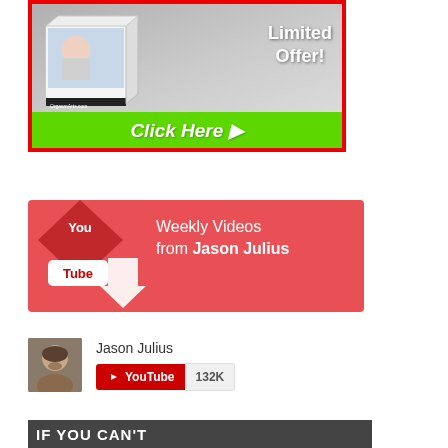[Figure (illustration): Advertisement banner with red border showing a product box with 'Limited Offer!' text and a green 'Click Here' button at the bottom. Shows OrgasmArts.com branding.]
[Figure (illustration): YouTube promotional banner in red/pink with YouTube logo icon, downward arrow, and text 'Weekly Videos from Jason Julius']
[Figure (illustration): YouTube channel subscription widget showing Jason Julius profile photo, channel name 'Jason Julius', red YouTube subscribe button with play icon, and subscriber count '132K']
[Figure (illustration): Bottom banner partially visible with text 'IF YOU CAN'T']